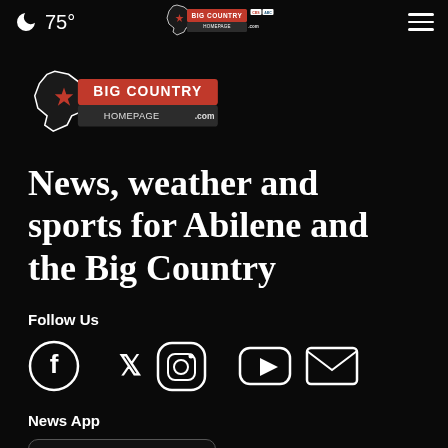🌙 75° | Big Country Homepage | ≡
[Figure (logo): Big Country Homepage.com logo with Texas star]
News, weather and sports for Abilene and the Big Country
Follow Us
[Figure (infographic): Social media icons: Facebook, Twitter, Instagram, YouTube, Email]
News App
[Figure (screenshot): Download on the App Store button (partial)]